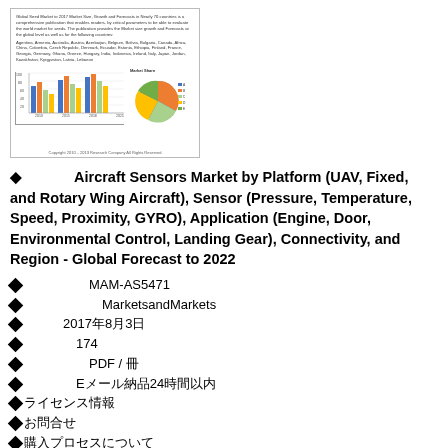[Figure (other): Thumbnail image of a market research report cover page with small bar chart and pie chart, text about Global Seed Market, and copyright notice.]
Aircraft Sensors Market by Platform (UAV, Fixed, and Rotary Wing Aircraft), Sensor (Pressure, Temperature, Speed, Proximity, GYRO), Application (Engine, Door, Environmental Control, Landing Gear), Connectivity, and Region - Global Forecast to 2022
MAM-AS5471
MarketsandMarkets
2017年8月3日
174
PDF / 冊
Eメール納品24時間以内
ライセンス情報
お問合せ
購入プロセスについて